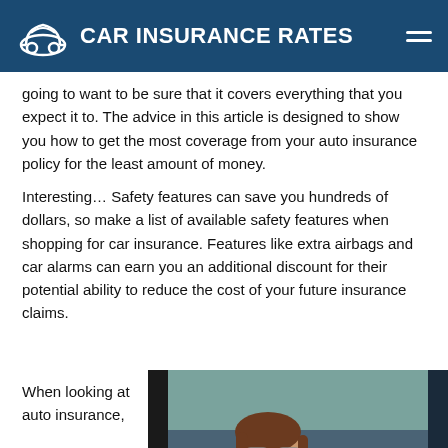CAR INSURANCE RATES
going to want to be sure that it covers everything that you expect it to. The advice in this article is designed to show you how to get the most coverage from your auto insurance policy for the least amount of money.
Interesting… Safety features can save you hundreds of dollars, so make a list of available safety features when shopping for car insurance. Features like extra airbags and car alarms can earn you an additional discount for their potential ability to reduce the cost of your future insurance claims.
When looking at auto insurance,
[Figure (photo): Woman with sunglasses smiling in a car, viewed from outside through the window]